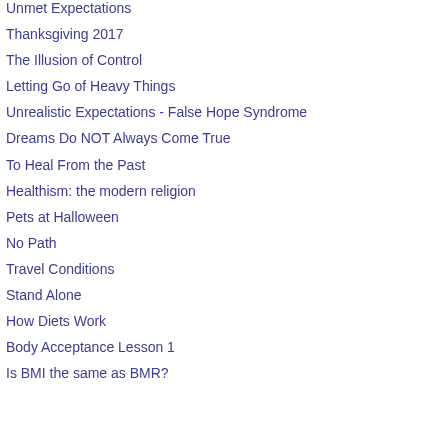Unmet Expectations
Thanksgiving 2017
The Illusion of Control
Letting Go of Heavy Things
Unrealistic Expectations - False Hope Syndrome
Dreams Do NOT Always Come True
To Heal From the Past
Healthism: the modern religion
Pets at Halloween
No Path
Travel Conditions
Stand Alone
How Diets Work
Body Acceptance Lesson 1
Is BMI the same as BMR?